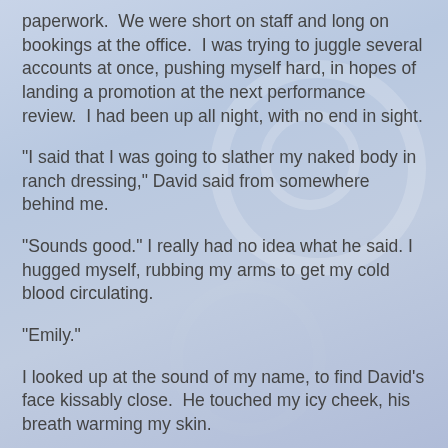paperwork.  We were short on staff and long on bookings at the office.  I was trying to juggle several accounts at once, pushing myself hard, in hopes of landing a promotion at the next performance review.  I had been up all night, with no end in sight.
"I said that I was going to slather my naked body in ranch dressing," David said from somewhere behind me.
"Sounds good." I really had no idea what he said. I hugged myself, rubbing my arms to get my cold blood circulating.
"Emily."
I looked up at the sound of my name, to find David's face kissably close.  He touched my icy cheek, his breath warming my skin.
"You're always working,"  he said, his voice seductive. "Let's play."
"Oh, babe," I groaned, despondent. "I really need to get this